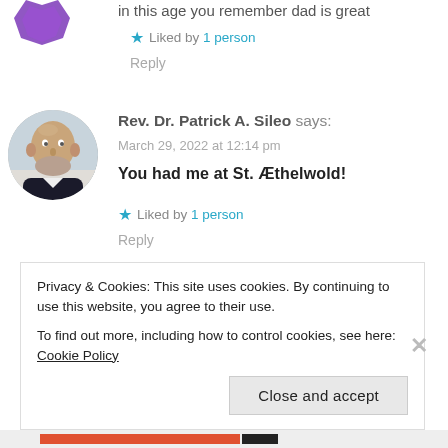in this age you remember dad is great
★ Liked by 1 person
Reply
[Figure (photo): Circular profile photo of Rev. Dr. Patrick A. Sileo, a bald smiling man with a beard, wearing a dark jacket, outdoors in winter.]
Rev. Dr. Patrick A. Sileo says:
March 29, 2022 at 12:14 pm
You had me at St. Æthelwold!
★ Liked by 1 person
Reply
Privacy & Cookies: This site uses cookies. By continuing to use this website, you agree to their use.
To find out more, including how to control cookies, see here: Cookie Policy
Close and accept